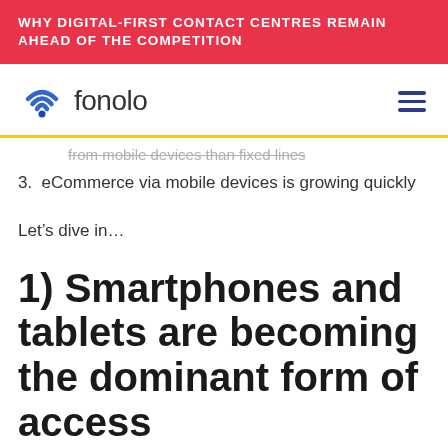WHY DIGITAL-FIRST CONTACT CENTRES REMAIN AHEAD OF THE COMPETITION
[Figure (logo): Fonolo logo with WiFi/location pin icon in blue and the word 'fonolo' in dark gray]
from mobile devices than fixed lines
3. eCommerce via mobile devices is growing quickly
Let’s dive in…
1) Smartphones and tablets are becoming the dominant form of access